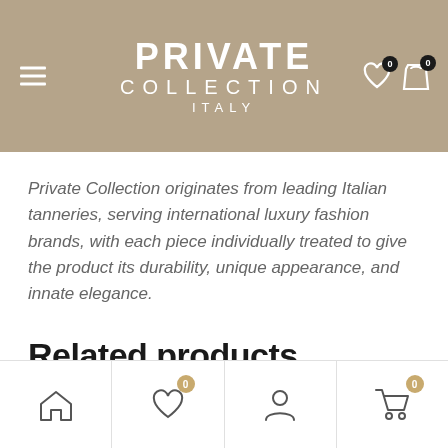[Figure (screenshot): Website header with tan/khaki background color. Brand name 'PRIVATE COLLECTION ITALY' displayed in white centered text. Hamburger menu icon on left. Heart and shopping cart icons with 0 badges on right.]
Private Collection originates from leading Italian tanneries, serving international luxury fashion brands, with each piece individually treated to give the product its durability, unique appearance, and innate elegance.
Related products
[Figure (screenshot): Bottom navigation bar with home, heart (badge 0), profile, and cart (badge 0) icons divided by vertical separators.]